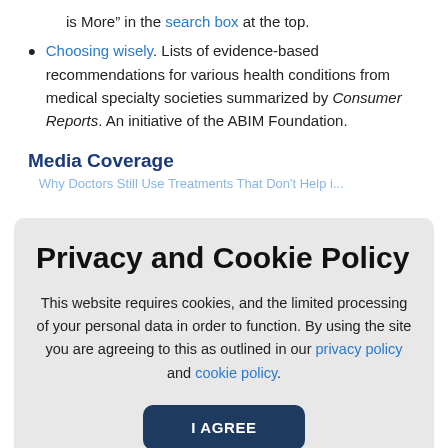is More” in the search box at the top.
Choosing wisely. Lists of evidence-based recommendations for various health conditions from medical specialty societies summarized by Consumer Reports. An initiative of the ABIM Foundation.
Media Coverage
Privacy and Cookie Policy
This website requires cookies, and the limited processing of your personal data in order to function. By using the site you are agreeing to this as outlined in our privacy policy and cookie policy.
I AGREE